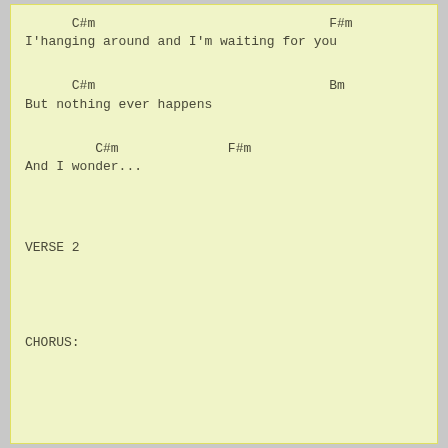C#m                              F#m
I'hanging around and I'm waiting for you
C#m                              Bm
But nothing ever happens
C#m              F#m
And I wonder...
VERSE 2
CHORUS: